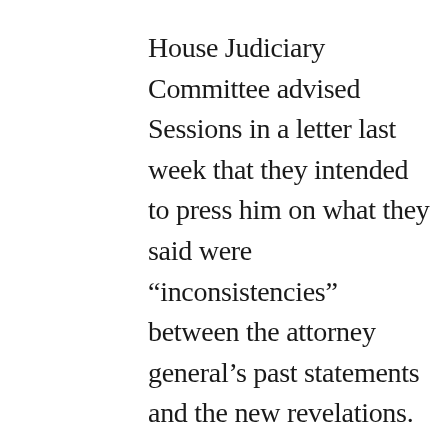House Judiciary Committee advised Sessions in a letter last week that they intended to press him on what they said were “inconsistencies” between the attorney general’s past statements and the new revelations.

“If, as recent reports suggest, you rejected Mr. Papadopoulos’s suggestion that President Trump meet